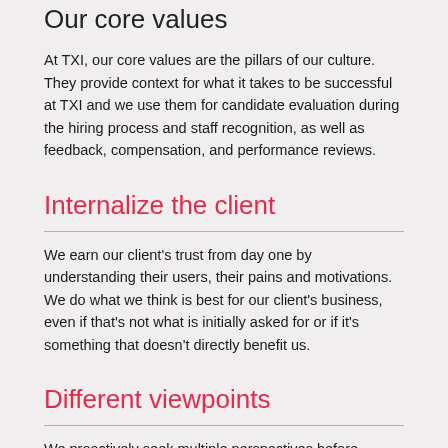Our core values
At TXI, our core values are the pillars of our culture. They provide context for what it takes to be successful at TXI and we use them for candidate evaluation during the hiring process and staff recognition, as well as feedback, compensation, and performance reviews.
Internalize the client
We earn our client's trust from day one by understanding their users, their pains and motivations. We do what we think is best for our client's business, even if that's not what is initially asked for or if it's something that doesn't directly benefit us.
Different viewpoints
We proactively seek multiple perspectives before